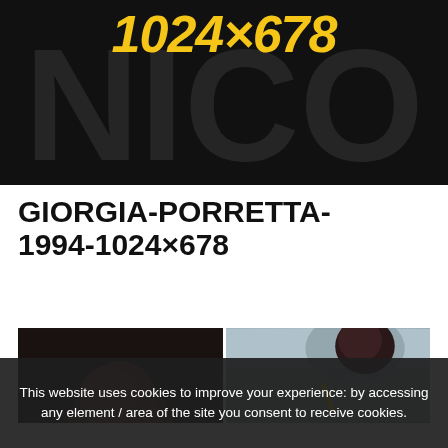1024×678
GIORGIA-PORRETTA-1994-1024×678
[Figure (photo): Two people photographed side by side: left side shows the back of a person's head with dark hair against a dark background; right side shows a person with dark hair bending forward, appearing to write with a pencil, against a grey background.]
This website uses cookies to improve your experience: by accessing any element / area of the site you consent to receive cookies.